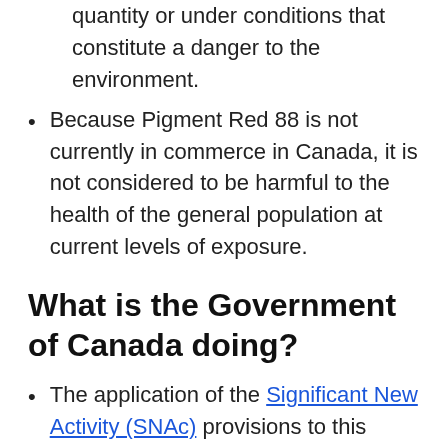quantity or under conditions that constitute a danger to the environment.
Because Pigment Red 88 is not currently in commerce in Canada, it is not considered to be harmful to the health of the general population at current levels of exposure.
What is the Government of Canada doing?
The application of the Significant New Activity (SNAc) provisions to this substance will be recommended. This